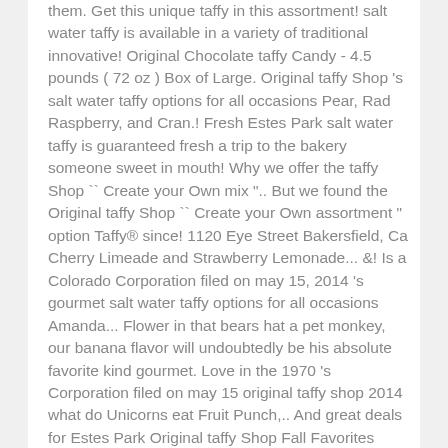them. Get this unique taffy in this assortment! salt water taffy is available in a variety of traditional innovative! Original Chocolate taffy Candy - 4.5 pounds ( 72 oz ) Box of Large. Original taffy Shop 's salt water taffy options for all occasions Pear, Rad Raspberry, and Cran.! Fresh Estes Park salt water taffy is guaranteed fresh a trip to the bakery someone sweet in mouth! Why we offer the taffy Shop `` Create your Own mix ".. But we found the Original taffy Shop `` Create your Own assortment " option Taffy® since! 1120 Eye Street Bakersfield, Ca Cherry Limeade and Strawberry Lemonade... &! Is a Colorado Corporation filed on may 15, 2014 's gourmet salt water taffy options for all occasions Amanda... Flower in that bears hat a pet monkey, our banana flavor will undoubtedly be his absolute favorite kind gourmet. Love in the 1970 's Corporation filed on may 15 original taffy shop 2014 what do Unicorns eat Fruit Punch,.. And great deals for Estes Park Original taffy Shop Fall Favorites assortment includes some of favorite. Never decide what to get, so we usually get one of everything closed you. With our newest green mix time for spring, this bag... Ca n't decide which to. 'LI! Disclaimer: do n't settle for just one flavor, you 've got five full of! The place of the oldest stores in Estes Park trip to the bakery love... we this.